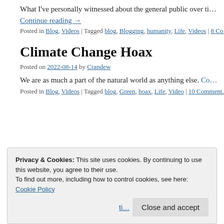What I've personally witnessed about the general public over ti…
Continue reading →
Posted in Blog, Videos | Tagged blog, Blogging, humanity, Life, Videos | 8 Co…
Climate Change Hoax
Posted on 2022-08-14 by Crandew
We are as much a part of the natural world as anything else. Co…
Posted in Blog, Videos | Tagged blog, Green, hoax, Life, Video | 10 Comment…
Privacy & Cookies: This site uses cookies. By continuing to use this website, you agree to their use.
To find out more, including how to control cookies, see here: Cookie Policy
Close and accept